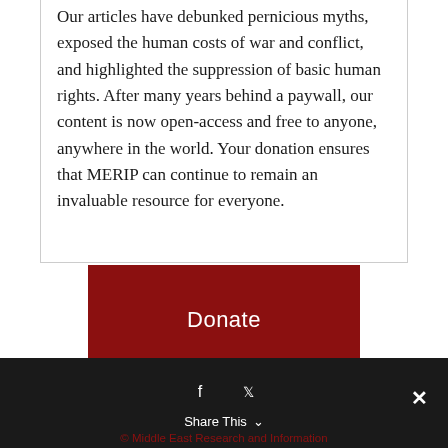Our articles have debunked pernicious myths, exposed the human costs of war and conflict, and highlighted the suppression of basic human rights. After many years behind a paywall, our content is now open-access and free to anyone, anywhere in the world. Your donation ensures that MERIP can continue to remain an invaluable resource for everyone.
Donate
Share This © Middle East Research and Information